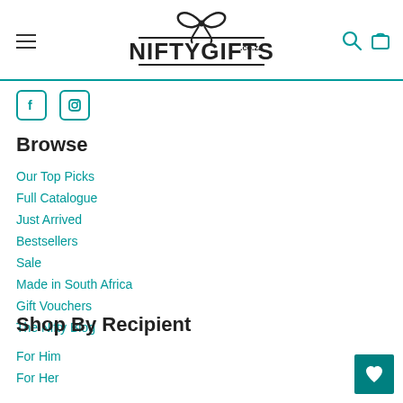NIFTYGIFTS.co.za
[Figure (logo): NiftyGifts.co.za logo with bow/ribbon icon above bold text NIFTYGIFTS.co.za]
Browse
Our Top Picks
Full Catalogue
Just Arrived
Bestsellers
Sale
Made in South Africa
Gift Vouchers
The Nifty Blog
Shop By Recipient
For Him
For Her